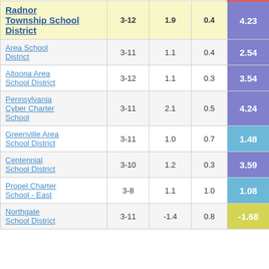| District | Grades | Col3 | Col4 | Score |
| --- | --- | --- | --- | --- |
| Radnor Township School District | 3-12 | 1.9 | 0.4 | 4.23 |
| Area School District | 3-11 | 1.1 | 0.4 | 2.54 |
| Altoona Area School District | 3-12 | 1.1 | 0.3 | 3.54 |
| Pennsylvania Cyber Charter School | 3-11 | 2.1 | 0.5 | 4.24 |
| Greenville Area School District | 3-11 | 1.0 | 0.7 | 1.48 |
| Centennial School District | 3-10 | 1.2 | 0.3 | 3.59 |
| Propel Charter School - East | 3-8 | 1.1 | 1.0 | 1.08 |
| Northgate School District | 3-11 | -1.4 | 0.8 | -1.68 |